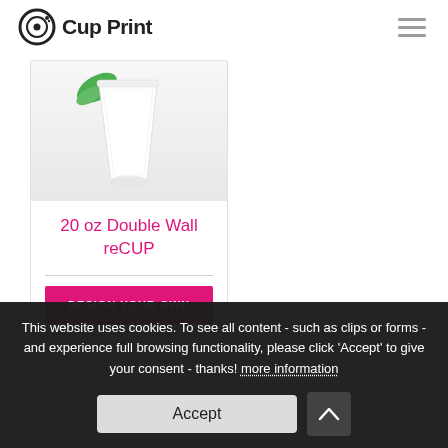Cup Print
[Figure (photo): White double-wall paper cup product photo with green leaf accent on light gray background]
20 oz Double Wall reCUP
DESIGN YOUR OWN
This website uses cookies. To see all content - such as clips or forms - and experience full browsing functionality, please click 'Accept' to give your consent - thanks! more information
Accept